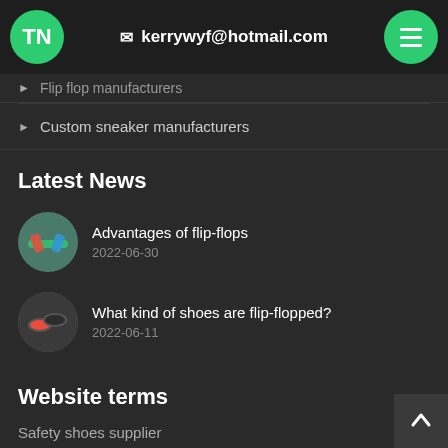TN | kerrywyf@hotmail.com
Flip flop manufacturers
Custom sneaker manufacturers
Latest News
Advantages of flip-flops
2022-06-30
What kind of shoes are flip-flopped?
2022-06-11
Website terms
Safety shoes supplier